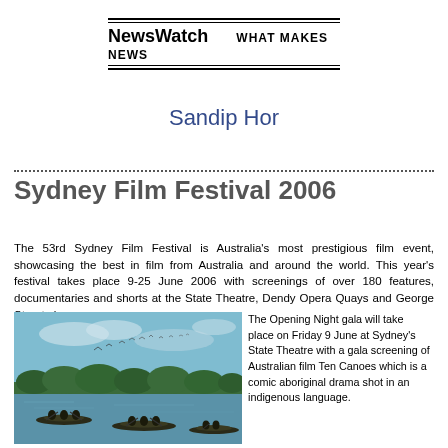NewsWatch   WHAT MAKES NEWS
Sandip Hor
Sydney Film Festival 2006
The 53rd Sydney Film Festival is Australia's most prestigious film event, showcasing the best in film from Australia and around the world. This year's festival takes place 9-25 June 2006 with screenings of over 180 features, documentaries and shorts at the State Theatre, Dendy Opera Quays and George Street cinemas.
[Figure (photo): Outdoor scene showing people in canoes on a river with trees in the background and birds in the sky.]
The Opening Night gala will take place on Friday 9 June at Sydney's State Theatre with a gala screening of Australian film Ten Canoes which is a comic aboriginal drama shot in an indigenous language.